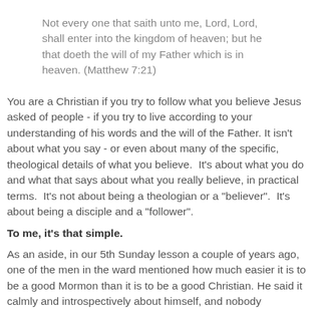Not every one that saith unto me, Lord, Lord, shall enter into the kingdom of heaven; but he that doeth the will of my Father which is in heaven. (Matthew 7:21)
You are a Christian if you try to follow what you believe Jesus asked of people - if you try to live according to your understanding of his words and the will of the Father. It isn't about what you say - or even about many of the specific, theological details of what you believe.  It's about what you do and what that says about what you really believe, in practical terms.  It's not about being a theologian or a "believer".  It's about being a disciple and a "follower".
To me, it's that simple.
As an aside, in our 5th Sunday lesson a couple of years ago, one of the men in the ward mentioned how much easier it is to be a good Mormon than it is to be a good Christian. He said it calmly and introspectively about himself, and nobody